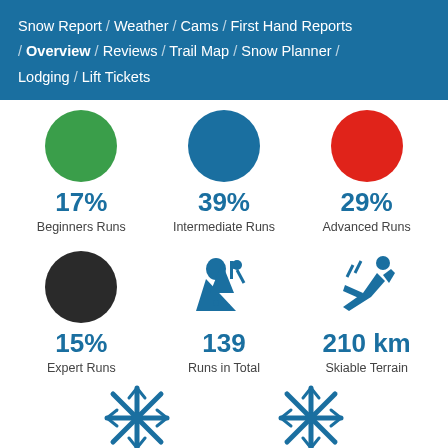Snow Report / Weather / Cams / First Hand Reports / Overview / Reviews / Trail Map / Snow Planner / Lodging / Lift Tickets
[Figure (infographic): Six ski resort statistics displayed as icons with values: 17% Beginners Runs (green circle), 39% Intermediate Runs (blue circle), 29% Advanced Runs (red circle), 15% Expert Runs (dark circle), 139 Runs in Total (ski trail icon), 210 km Skiable Terrain (skier icon), plus two snowflake icons at bottom]
17% Beginners Runs
39% Intermediate Runs
29% Advanced Runs
15% Expert Runs
139 Runs in Total
210 km Skiable Terrain